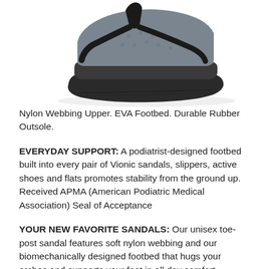[Figure (photo): A gray and black flip-flop sandal (thong style) with gray EVA footbed and black rubber outsole, photographed from above-side angle on white background.]
Nylon Webbing Upper. EVA Footbed. Durable Rubber Outsole.
EVERYDAY SUPPORT: A podiatrist-designed footbed built into every pair of Vionic sandals, slippers, active shoes and flats promotes stability from the ground up. Received APMA (American Podiatric Medical Association) Seal of Acceptance
YOUR NEW FAVORITE SANDALS: Our unisex toe-post sandal features soft nylon webbing and our biomechanically designed footbed that hugs your arches and supports your feet in all day comfort.